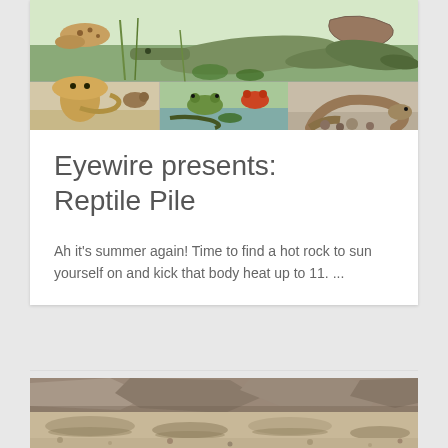[Figure (illustration): Vintage scientific illustration collage showing various reptiles and amphibians including crocodiles, cobras, frogs, salamanders, and snakes in a grid layout]
Eyewire presents: Reptile Pile
Ah it's summer again! Time to find a hot rock to sun yourself on and kick that body heat up to 11. ...
[Figure (photo): Close-up photograph of rocky terrain with flat stones and sandy ground, suggesting a lizard habitat]